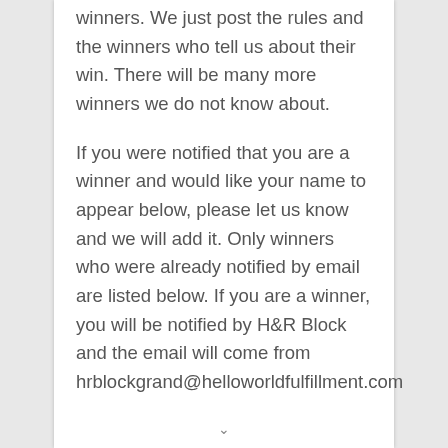winners. We just post the rules and the winners who tell us about their win. There will be many more winners we do not know about.
If you were notified that you are a winner and would like your name to appear below, please let us know and we will add it. Only winners who were already notified by email are listed below. If you are a winner, you will be notified by H&R Block and the email will come from hrblockgrand@helloworldfulfillment.com